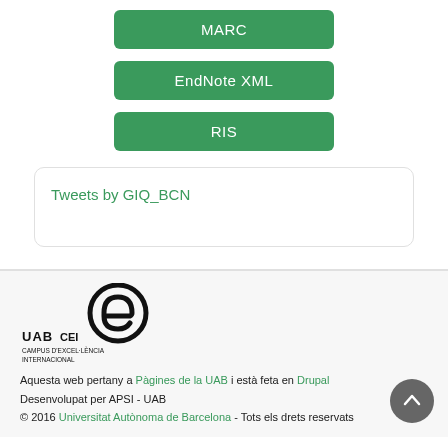MARC
EndNote XML
RIS
Tweets by GIQ_BCN
[Figure (logo): UAB CEI Campus d'Excel·lència Internacional logo]
Aquesta web pertany a Pàgines de la UAB i està feta en Drupal
Desenvolupat per APSI - UAB
© 2016 Universitat Autònoma de Barcelona - Tots els drets reservats